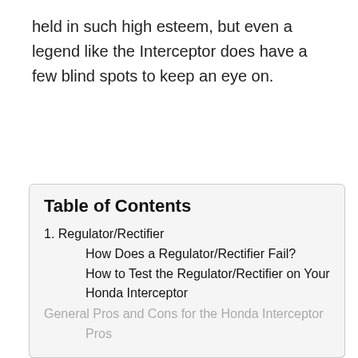held in such high esteem, but even a legend like the Interceptor does have a few blind spots to keep an eye on.
Table of Contents
1. Regulator/Rectifier
How Does a Regulator/Rectifier Fail?
How to Test the Regulator/Rectifier on Your Honda Interceptor
2. Cam Chain Tensioners on 2002-2013 Honda Interceptor VFR800 VTEC models
3. Expensive 16,000 Mile Service for VTEC Models
4. Thermostat Malfunction
5. Recalls
General Pros and Cons for the Honda Interceptor
Pros